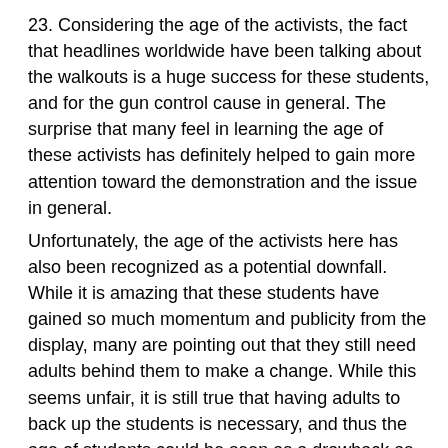23. Considering the age of the activists, the fact that headlines worldwide have been talking about the walkouts is a huge success for these students, and for the gun control cause in general. The surprise that many feel in learning the age of these activists has definitely helped to gain more attention toward the demonstration and the issue in general.
Unfortunately, the age of the activists here has also been recognized as a potential downfall. While it is amazing that these students have gained so much momentum and publicity from the display, many are pointing out that they still need adults behind them to make a change. While this seems unfair, it is still true that having adults to back up the students is necessary, and thus the age of students could be seen as a drawback as well. Either way, having younger generations be the main voice in this protest has definitely set it apart from other movements that have recently made headlines.